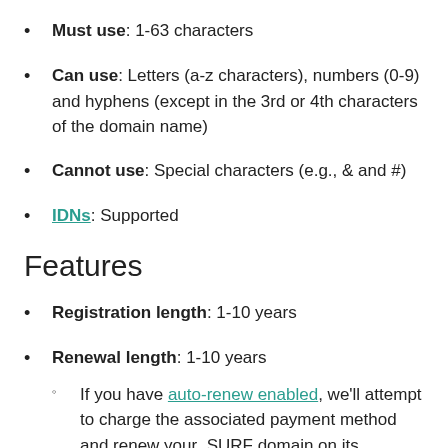Must use: 1-63 characters
Can use: Letters (a-z characters), numbers (0-9) and hyphens (except in the 3rd or 4th characters of the domain name)
Cannot use: Special characters (e.g., & and #)
IDNs: Supported
Features
Registration length: 1-10 years
Renewal length: 1-10 years
If you have auto-renew enabled, we'll attempt to charge the associated payment method and renew your .SURF domain on its expiration date.